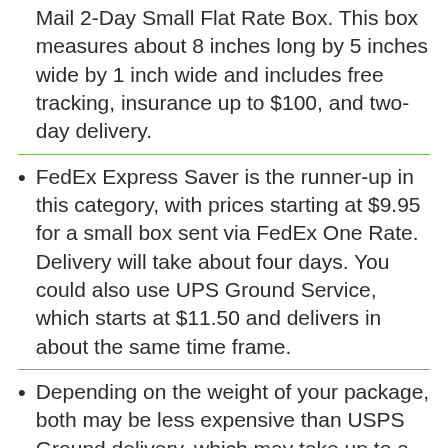Mail 2-Day Small Flat Rate Box. This box measures about 8 inches long by 5 inches wide by 1 inch wide and includes free tracking, insurance up to $100, and two-day delivery.
FedEx Express Saver is the runner-up in this category, with prices starting at $9.95 for a small box sent via FedEx One Rate. Delivery will take about four days. You could also use UPS Ground Service, which starts at $11.50 and delivers in about the same time frame.
Depending on the weight of your package, both may be less expensive than USPS Ground delivery, which may take up to a week.
Written by rapidexpressfreight
>Last Updated: April 12 2022